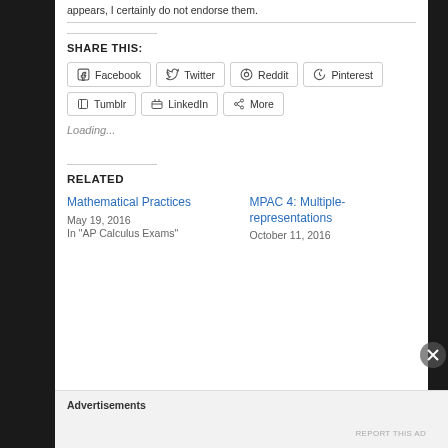appears, I certainly do not endorse them.
SHARE THIS:
Facebook
Twitter
Reddit
Pinterest
Tumblr
LinkedIn
More
Loading...
RELATED
Mathematical Practices
May 19, 2016
In "AP Calculus Exams"
MPAC 4: Multiple-representations
October 11, 2016
Advertisements